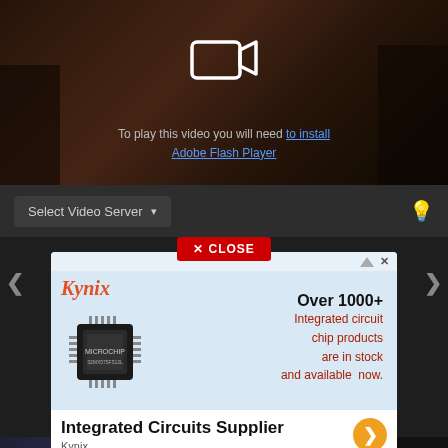[Figure (screenshot): Video player showing group of people in a living room scene, with camera icon and Flash Player install message]
To play this video you will need to install Adobe Flash Player
Select Video Server ▾
✕ CLOSE
[Figure (infographic): Kynix advertisement for integrated circuit chip products. Shows Kynix logo, microchip image, text: Over 1000+ Integrated circuit chip products are in stock and available now. Bottom: Integrated Circuits Supplier with orange arrow button. Kynix.]
korn |
Nong Reanh | Thai Drama Part 11